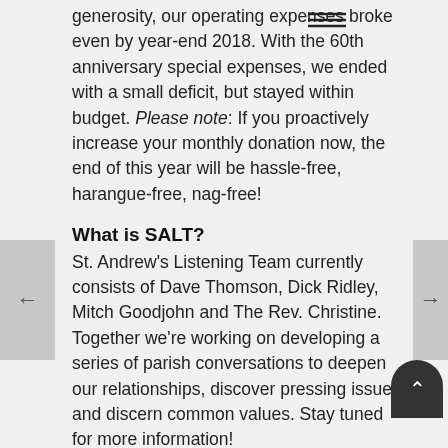Thanks to everyone's great commitment and generosity, our operating expenses broke even by year-end 2018. With the 60th anniversary special expenses, we ended with a small deficit, but stayed within budget. Please note: If you proactively increase your monthly donation now, the end of this year will be hassle-free, harangue-free, nag-free!
What is SALT?
St. Andrew's Listening Team currently consists of Dave Thomson, Dick Ridley, Mitch Goodjohn and The Rev. Christine. Together we're working on developing a series of parish conversations to deepen our relationships, discover pressing issues and discern common values. Stay tuned for more information!
Parking!!
Foothills Village Condo Board has voted to allow us park in their VISITOR parking on Sundays ...